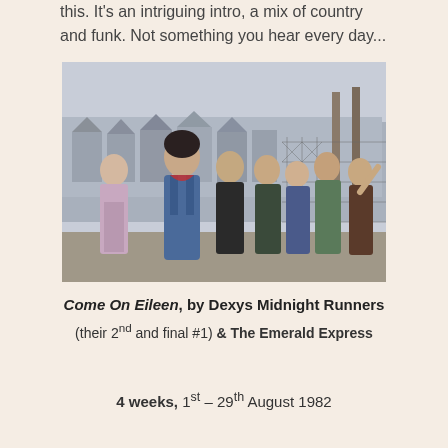this. It's an intriguing intro, a mix of country and funk. Not something you hear every day...
[Figure (photo): Band photo of Dexys Midnight Runners and The Emerald Express, a group of people standing in front of a chain-link fence on a street, wearing dungarees and casual clothes, with row houses visible in the background.]
Come On Eileen, by Dexys Midnight Runners (their 2nd and final #1) & The Emerald Express
4 weeks, 1st – 29th August 1982